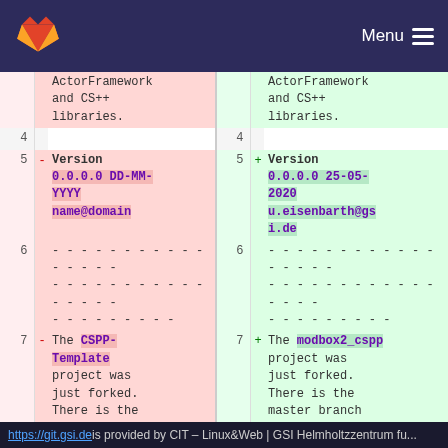GitLab — git.gsi.de — Menu
| line_old | sign_old | content_old | line_new | sign_new | content_new |
| --- | --- | --- | --- | --- | --- |
|  |  | ActorFramework and CS++ libraries. |  |  | ActorFramework and CS++ libraries. |
| 4 |  |  | 4 |  |  |
| 5 | - | Version 0.0.0.0 DD-MM-YYYY name@domain | 5 | + | Version 0.0.0.0 25-05-2020 u.eisenbarth@gsi.de |
| 6 |  | ............................................... | 6 |  | ............................................... |
| 7 | - | The CSPP-Template project was just forked. There is the master branch with some submodules | 7 | + | The modbox2_cspp project was just forked. There is the master branch with some submodules |
https://git.gsi.de is provided by CIT – Linux&Web | GSI Helmholtzzentrum fu...